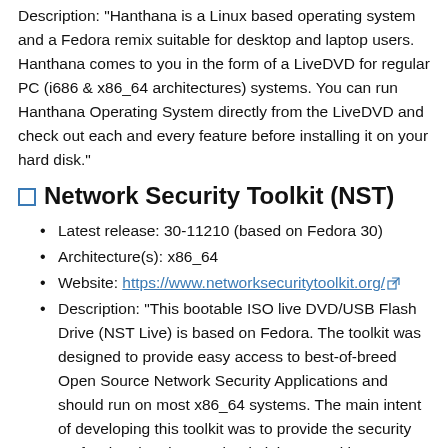Description: "Hanthana is a Linux based operating system and a Fedora remix suitable for desktop and laptop users. Hanthana comes to you in the form of a LiveDVD for regular PC (i686 & x86_64 architectures) systems. You can run Hanthana Operating System directly from the LiveDVD and check out each and every feature before installing it on your hard disk."
Network Security Toolkit (NST)
Latest release: 30-11210 (based on Fedora 30)
Architecture(s): x86_64
Website: https://www.networksecuritytoolkit.org/
Description: "This bootable ISO live DVD/USB Flash Drive (NST Live) is based on Fedora. The toolkit was designed to provide easy access to best-of-breed Open Source Network Security Applications and should run on most x86_64 systems. The main intent of developing this toolkit was to provide the security professional and network administrator with a comprehensive set of Open Source Network Security Tools. The majority of tools published in the article: Top 125 Security Tools by INSECURE.ORG are